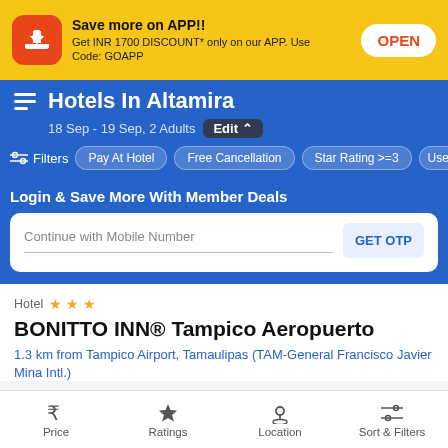[Figure (screenshot): App promotion banner with orange icon, bold text 'Save more on APP!!' and OPEN button on yellow background]
Save more on APP!!
Get INR 1700 DISCOUNT* only on our APP. Use Code: GOAPP
Hotels In Altamira
18 Sep - 19 Sep, 2 Adults
Filters  Pay At Hotel  Free Cancellation  Star Rating >=3  User Ra
Login & Save More With Member Deals
Continue with Mobile Number
GET OTP
Hotel ★★★
BONITTO INN® Tampico Aeropuerto
1.3 km from Tampico Airport, Tamaulipas (TAM-General Francisco Javier Mina Intl.)
Price  Ratings  Location  Sort & Filters